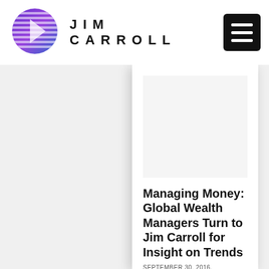[Figure (logo): Jim Carroll website logo — globe/sphere icon in purple and blue with horizontal lines, next to text 'JIM CARROLL' in wide-spaced bold caps]
[Figure (other): Hamburger menu button — black rounded square with three white horizontal lines]
[Figure (photo): White image placeholder area in the content card (article thumbnail image area, appears blank/white)]
Managing Money: Global Wealth Managers Turn to Jim Carroll for Insight on Trends
SEPTEMBER 30, 2016,
BY JIM...